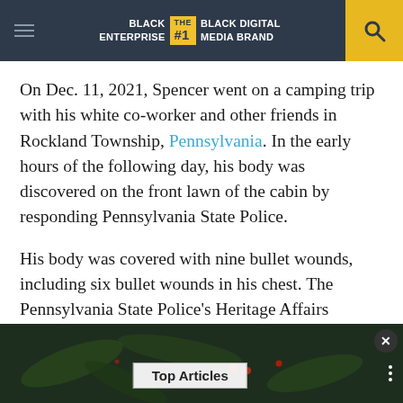BLACK ENTERPRISE THE #1 BLACK DIGITAL MEDIA BRAND
On Dec. 11, 2021, Spencer went on a camping trip with his white co-worker and other friends in Rockland Township, Pennsylvania. In the early hours of the following day, his body was discovered on the front lawn of the cabin by responding Pennsylvania State Police.
His body was covered with nine bullet wounds, including six bullet wounds in his chest. The Pennsylvania State Police’s Heritage Affairs Section is involved in the case to investigate hate or bias.
[Figure (screenshot): Dark background image with overlay label reading 'Top Articles' and decorative dots button on right side, close button top-right]